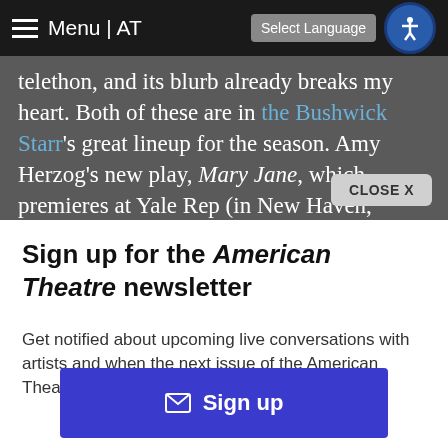Menu | AT | Select Language
telethon, and its blurb already breaks my heart. Both of these are in the Bushwick Starr's great lineup for the season. Amy Herzog's new play, Mary Jane, which premieres at Yale Rep (in New Haven, Conn., April 28-May 20, 2017), is unspeakably beautiful and had me gasping for breath on the subway when I read it.
Sign up for the American Theatre newsletter
Get notified about upcoming live conversations with artists and when the next issue of the American Theatre is released.
Sign up